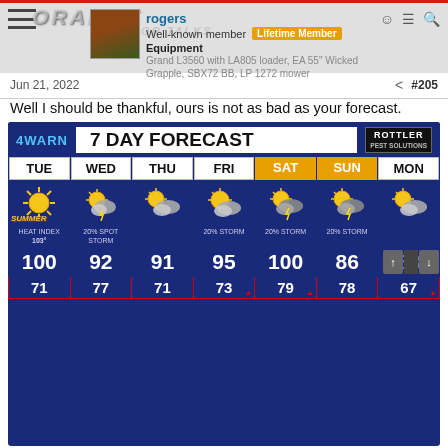ORANGE TRACTOR TALKS
rogers | Well-known member | Lifetime Member
Equipment
Grand L3560 with LA805 loader, EA 55" Wicked Grapple, SBX72 BB, LP 1272 mower
Jun 21, 2022  #205
Well I should be thankful, ours is not as bad as your forecast.
[Figure (screenshot): 7-day weather forecast from 4WARN showing TUE through MON. High temperatures: TUE 100, WED 92, THU 91, FRI 95, SAT 100, SUN 86, MON ~83. Low temperatures: TUE 71, WED 77, THU 71, FRI 73, SAT 79, SUN 78, MON 67. TUE has heat index 103, WED/SAT/SUN/MON show 20% storm chance. SAT and SUN headers are orange.]